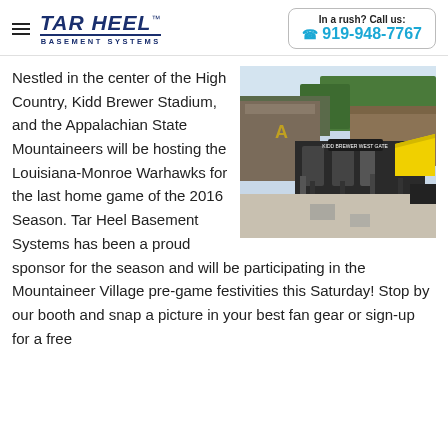TAR HEEL BASEMENT SYSTEMS — In a rush? Call us: 919-948-7767
[Figure (photo): Outdoor photo of Kidd Brewer Stadium entrance area showing the west gate, brick buildings, trees, a yellow tent, and a concrete plaza.]
Nestled in the center of the High Country, Kidd Brewer Stadium, and the Appalachian State Mountaineers will be hosting the Louisiana-Monroe Warhawks for the last home game of the 2016 Season. Tar Heel Basement Systems has been a proud sponsor for the season and will be participating in the Mountaineer Village pre-game festivities this Saturday! Stop by our booth and snap a picture in your best fan gear or sign-up for a free